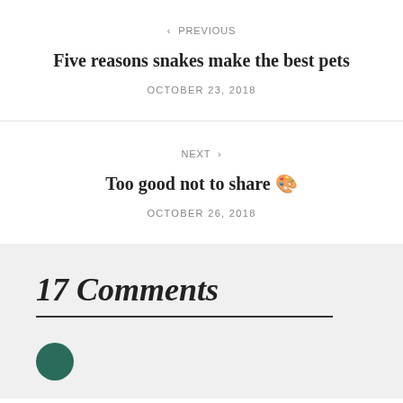< PREVIOUS
Five reasons snakes make the best pets
OCTOBER 23, 2018
NEXT >
Too good not to share 🎨
OCTOBER 26, 2018
17 Comments